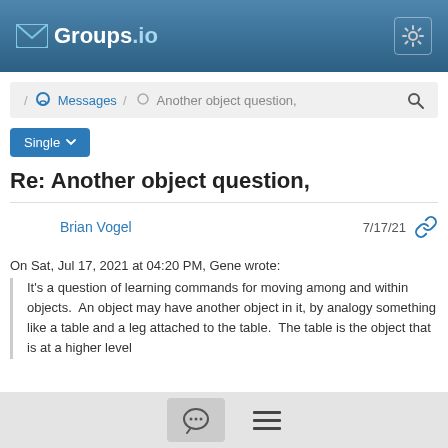Groups.io
/ Messages / Another object question,
Single
Re: Another object question,
Brian Vogel   7/17/21
On Sat, Jul 17, 2021 at 04:20 PM, Gene wrote:
It's a question of learning commands for moving among and within objects.  An object may have another object in it, by analogy something like a table and a leg attached to the table.  The table is the object that is at a higher level